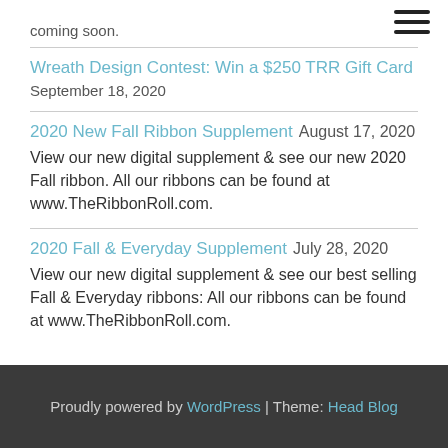coming soon.
Wreath Design Contest: Win a $250 TRR Gift Card  September 18, 2020
2020 New Fall Ribbon Supplement  August 17, 2020
View our new digital supplement & see our new 2020 Fall ribbon. All our ribbons can be found at www.TheRibbonRoll.com.
2020 Fall & Everyday Supplement  July 28, 2020
View our new digital supplement & see our best selling Fall & Everyday ribbons: All our ribbons can be found at www.TheRibbonRoll.com.
Proudly powered by WordPress | Theme: Head Blog